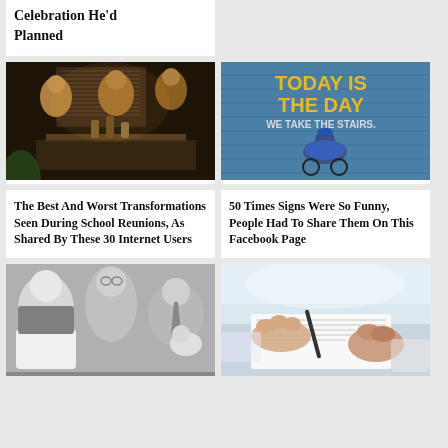Celebration He'd Planned
[Figure (photo): People at a party or social gathering, indoor event with drinks on a table]
[Figure (photo): Person in wheelchair in front of blue wall with motivational sign reading TODAY IS THE DAY WE TAKE THE STAIRS]
The Best And Worst Transformations Seen During School Reunions, As Shared By These 30 Internet Users
50 Times Signs Were So Funny, People Had To Share Them On This Facebook Page
[Figure (photo): Black and white photo of people holding babies]
[Figure (photo): Hands signing or exchanging a document on a table]